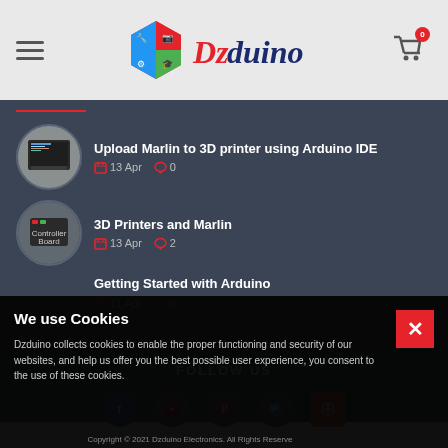Dzduino - header with hamburger menu, logo, and cart
Upload Marlin to 3D printer using Arduino IDE — 13 Apr, 0 comments
3D Printers and Marlin — 13 Apr, 2 comments
Getting Started with Arduino — 11 Apr, 0 comments
FOLLOW US
We use Cookies
Dzduino collects cookies to enable the proper functioning and security of our websites, and help us offer you the best possible user experience, you consent to the use of these cookies.
Copyright © 2021 Dzduino Electronics. All Rights Reserve